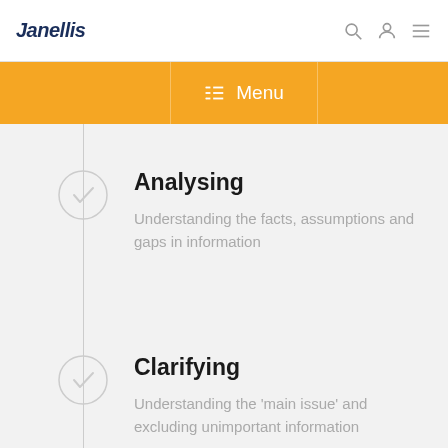Janellis
☰ Menu
Analysing — Understanding the facts, assumptions and gaps in information
Clarifying — Understanding the 'main issue' and excluding unimportant information